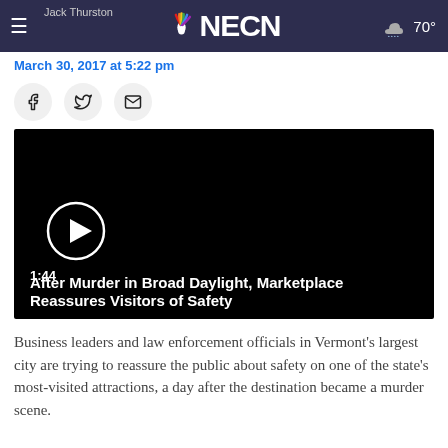NECN — March 30, 2017 · Updated March 30, 2017 at 5:22 pm · 70°
March 30, 2017 at 5:22 pm
[Figure (screenshot): Video player showing black screen with play button, duration 1:44, title: After Murder in Broad Daylight, Marketplace Reassures Visitors of Safety]
Business leaders and law enforcement officials in Vermont's largest city are trying to reassure the public about safety on one of the state's most-visited attractions, a day after the destination became a murder scene.